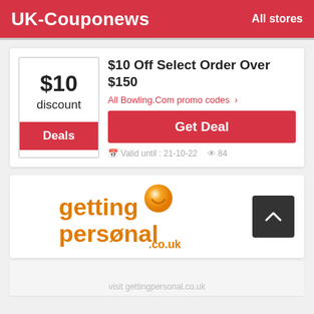UK-Couponews   All stores
$10 Off Select Order Over $150
$10 discount
Deals
All Bowling.Com promo codes >
Get Deal
Valid until : 21-10-22   84
[Figure (logo): gettingpersonal.co.uk logo with orange ball and text]
visit gettingpersonal.co.uk